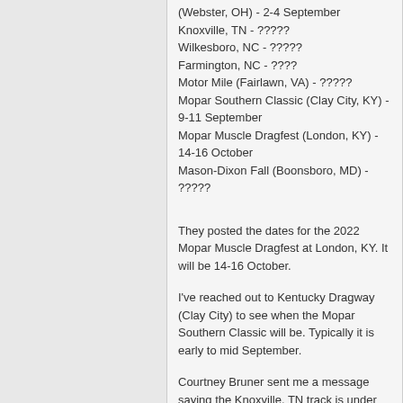(Webster, OH) - 2-4 September
Knoxville, TN - ?????
Wilkesboro, NC - ?????
Farmington, NC - ????
Motor Mile (Fairlawn, VA) - ?????
Mopar Southern Classic (Clay City, KY) - 9-11 September
Mopar Muscle Dragfest (London, KY) - 14-16 October
Mason-Dixon Fall (Boonsboro, MD) - ?????
They posted the dates for the 2022 Mopar Muscle Dragfest at London, KY. It will be 14-16 October.
I've reached out to Kentucky Dragway (Clay City) to see when the Mopar Southern Classic will be. Typically it is early to mid September.
Courtney Bruner sent me a message saying the Knoxville, TN track is under new management as well. This